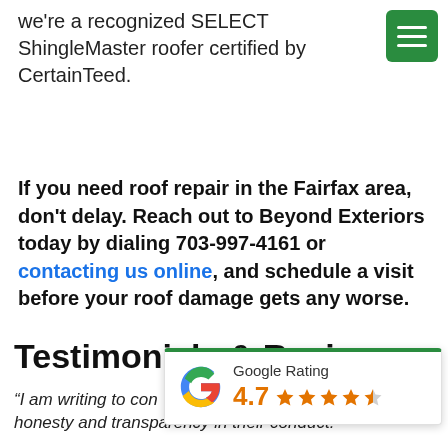we're a recognized SELECT ShingleMaster roofer certified by CertainTeed.
If you need roof repair in the Fairfax area, don't delay. Reach out to Beyond Exteriors today by dialing 703-997-4161 or contacting us online, and schedule a visit before your roof damage gets any worse.
Testimonials & Reviews
[Figure (other): Google Rating widget showing 4.7 stars out of 5, with green top border and Google logo]
“I am writing to con[gratulate] Exteriors team and [their] honesty and transparency in their conduct.